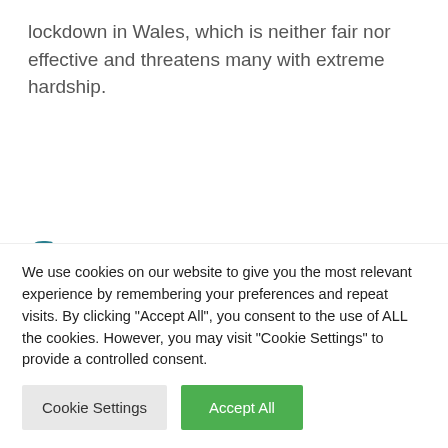lockdown in Wales, which is neither fair nor effective and threatens many with extreme hardship.
Statement: Lockdowns are neither effective nor
We use cookies on our website to give you the most relevant experience by remembering your preferences and repeat visits. By clicking “Accept All”, you consent to the use of ALL the cookies. However, you may visit "Cookie Settings" to provide a controlled consent.